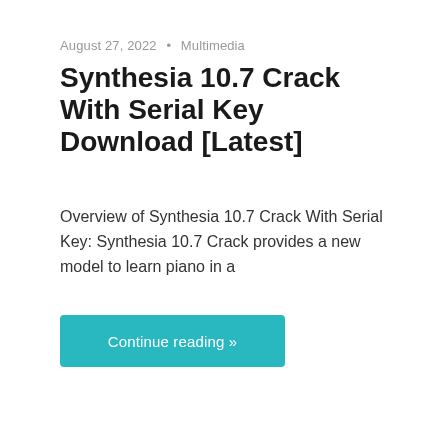August 27, 2022 • Multimedia
Synthesia 10.7 Crack With Serial Key Download [Latest]
Overview of Synthesia 10.7 Crack With Serial Key: Synthesia 10.7 Crack provides a new model to learn piano in a
Continue reading »
[Figure (other): Two teal/blue rounded rectangle blocks partially visible at the bottom of the page]